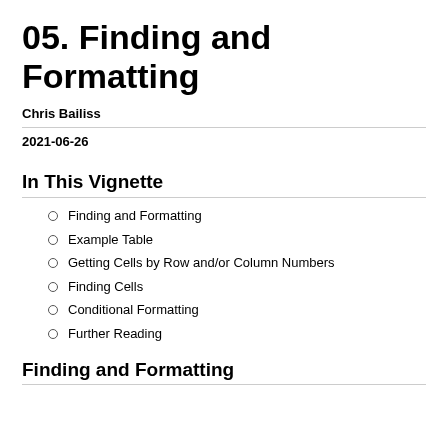05. Finding and Formatting
Chris Bailiss
2021-06-26
In This Vignette
Finding and Formatting
Example Table
Getting Cells by Row and/or Column Numbers
Finding Cells
Conditional Formatting
Further Reading
Finding and Formatting